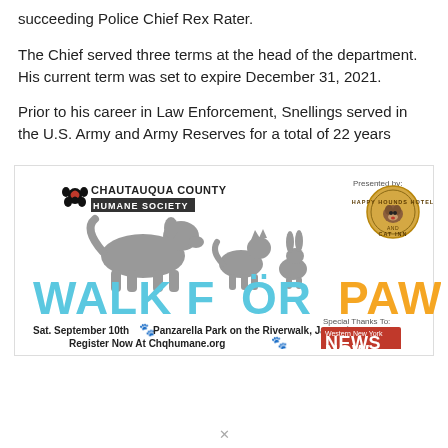succeeding Police Chief Rex Rater.
The Chief served three terms at the head of the department. His current term was set to expire December 31, 2021.
Prior to his career in Law Enforcement, Snellings served in the U.S. Army and Army Reserves for a total of 22 years
[Figure (infographic): Walk For Paws event advertisement for Chautauqua County Humane Society. Features silhouettes of dog, cat, and rabbit. Text reads: WALK FOR PAWS, Sat. September 10th, Panzarella Park on the Riverwalk, Jamestown, Register Now At Chqhumane.org. Presented by Happy Hounds Hotel. Special Thanks To: Western New York News Now.]